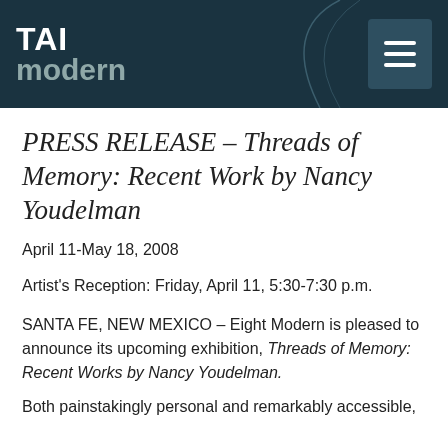TAI modern
PRESS RELEASE – Threads of Memory: Recent Work by Nancy Youdelman
April 11-May 18, 2008
Artist's Reception: Friday, April 11, 5:30-7:30 p.m.
SANTA FE, NEW MEXICO – Eight Modern is pleased to announce its upcoming exhibition, Threads of Memory: Recent Works by Nancy Youdelman.
Both painstakingly personal and remarkably accessible,